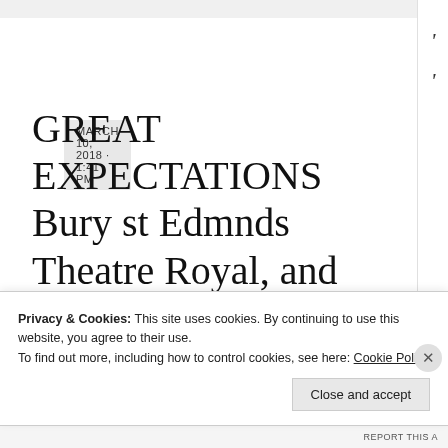MARCH 10, 2018 · 1:41 PM
GREAT EXPECTATIONS Bury st Edmnds Theatre Royal, and TOURING
DICKENS EXCEEDING EXPECTATIONS
Privacy & Cookies: This site uses cookies. By continuing to use this website, you agree to their use.
To find out more, including how to control cookies, see here: Cookie Policy
Close and accept